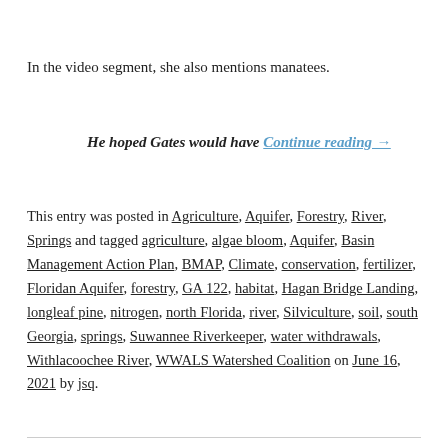In the video segment, she also mentions manatees.
He hoped Gates would have Continue reading →
This entry was posted in Agriculture, Aquifer, Forestry, River, Springs and tagged agriculture, algae bloom, Aquifer, Basin Management Action Plan, BMAP, Climate, conservation, fertilizer, Floridan Aquifer, forestry, GA 122, habitat, Hagan Bridge Landing, longleaf pine, nitrogen, north Florida, river, Silviculture, soil, south Georgia, springs, Suwannee Riverkeeper, water withdrawals, Withlacoochee River, WWALS Watershed Coalition on June 16, 2021 by jsq.